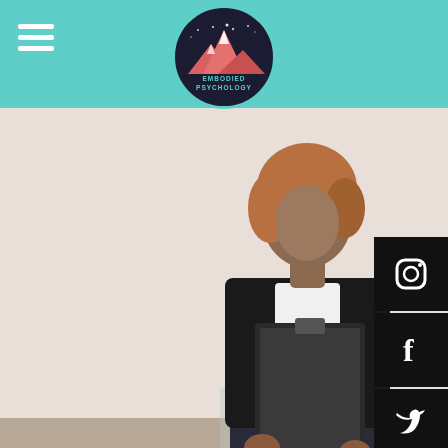Embodied Psychology
[Figure (photo): A therapist in a black blazer holding a clipboard/notepad sitting across from a patient (seen from behind with reddish hair). Session setting with neutral background.]
[Figure (photo): Blog post header banner with salmon/coral background reading '3 MORE THINGS' with URL feministcounselloredmonton.com/blog and a feminist therapist circular logo.]
In a post last month, I shared with you some reasons why you might find therapy useful for dealing with some aspects of the coronavirus crisis, like shame reactions to